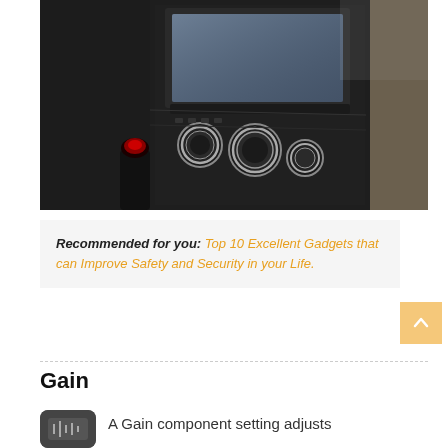[Figure (photo): Car interior dashboard showing infotainment screen, climate control knobs, gear shift in a dark cabin]
Recommended for you: Top 10 Excellent Gadgets that can Improve Safety and Security in your Life.
Gain
[Figure (illustration): Small dark rounded rectangle icon]
A Gain component setting adjusts